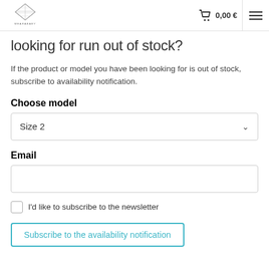WEARABABY  0,00 €  ☰
looking for run out of stock?
If the product or model you have been looking for is out of stock, subscribe to availability notification.
Choose model
Size 2
Email
I'd like to subscribe to the newsletter
Subscribe to the availability notification